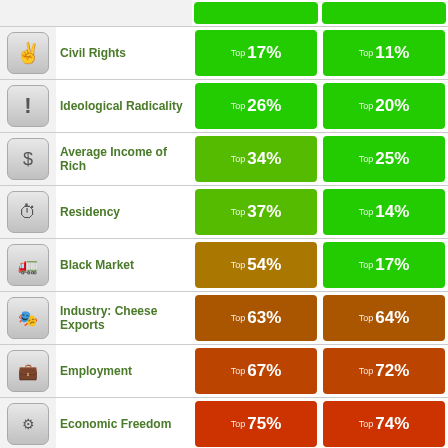| Icon | Category | Value 1 | Value 2 |
| --- | --- | --- | --- |
| [peace] | Civil Rights | Top 17% | Top 11% |
| [exclamation] | Ideological Radicality | Top 26% | Top 20% |
| [dollar] | Average Income of Rich | Top 34% | Top 25% |
| [clock] | Residency | Top 37% | Top 14% |
| [truck] | Black Market | Top 54% | Top 17% |
| [cheese] | Industry: Cheese Exports | Top 63% | Top 64% |
| [briefcase] | Employment | Top 67% | Top 72% |
| [nuclear] | Economic Freedom | Top 75% | Top 74% |
| [thermometer] | Averageness | Top 75% | Top 81% |
| [eye] | Authoritarianism | Top 78% | Top 78% |